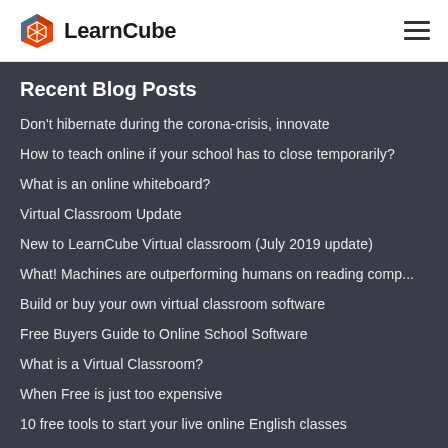LearnCube
Recent Blog Posts
Don't hibernate during the corona-crisis, innovate
How to teach online if your school has to close temporarily?
What is an online whiteboard?
Virtual Classroom Update
New to LearnCube Virtual classroom (July 2019 update)
What! Machines are outperforming humans on reading comp...
Build or buy your own virtual classroom software
Free Buyers Guide to Online School Software
What is a Virtual Classroom?
When Free is just too expensive
10 free tools to start your live online English classes
Trends transforming the business of teaching English